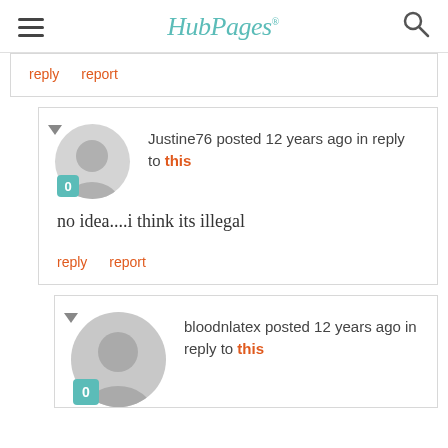HubPages
reply   report
Justine76 posted 12 years ago in reply to this
no idea....i think its illegal
reply   report
bloodnlatex posted 12 years ago in reply to this